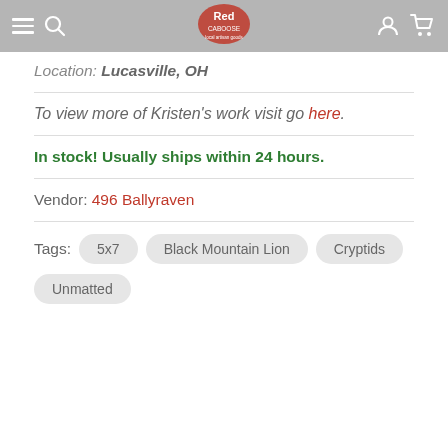Red Caboose navigation bar
Location: Lucasville, OH
To view more of Kristen's work visit go here.
In stock! Usually ships within 24 hours.
Vendor: 496 Ballyraven
Tags: 5x7   Black Mountain Lion   Cryptids   Unmatted